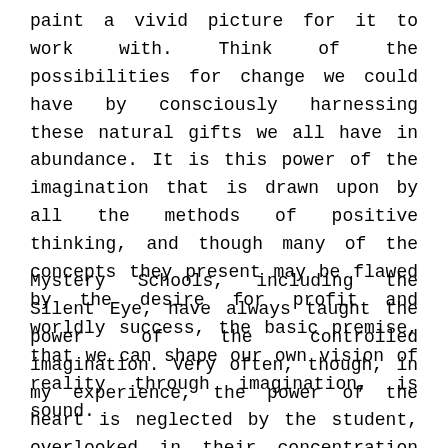paint a vivid picture for it to work with. Think of the possibilities for change we could have by consciously harnessing these natural gifts we all have in abundance. It is this power of the imagination that is drawn upon by all the methods of positive thinking, and though many of the concepts they present may be flawed by the desire for profit and worldly success, the basic premise, that we can shape our own vision of reality through imagination, is sound.
Mystery Schools, including the Silent Eye, have always taught the power of the controlled imagination. Very often, though, in my experience, the power of the heart is neglected by the student, overlooked in their concentration on study, with the result that the focus becomes purely intellectual and loses the true meaning of such a path,